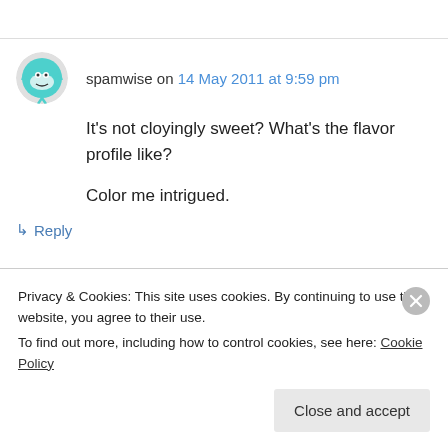spamwise on 14 May 2011 at 9:59 pm
It's not cloyingly sweet? What's the flavor profile like?

Color me intrigued.
↳ Reply
local kitchen on 15 May 2011 at 9:51 am
Privacy & Cookies: This site uses cookies. By continuing to use this website, you agree to their use.
To find out more, including how to control cookies, see here: Cookie Policy
Close and accept